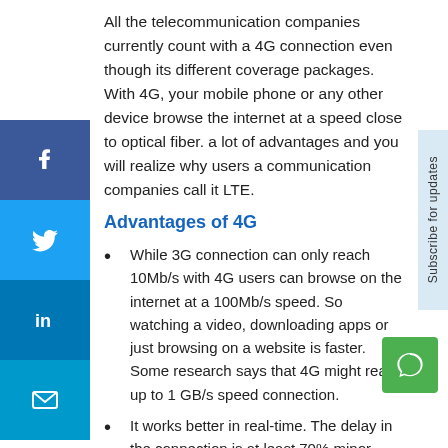All the telecommunication companies currently count with a 4G connection even though its different coverage packages. With 4G, your mobile phone or any other device browse the internet at a speed close to optical fiber. a lot of advantages and you will realize why users a communication companies call it LTE.
Advantages of 4G
While 3G connection can only reach 10Mb/s with 4G users can browse on the internet at a 100Mb/s speed. So watching a video, downloading apps or just browsing on a website is faster. Some research says that 4G might reach up to 1 GB/s speed connection.
It works better in real-time. The delay in the connection is at least 70% minor than the 3G. You will never notice pauses in voice calls or online games.
Just a few users know that 4G will drop the